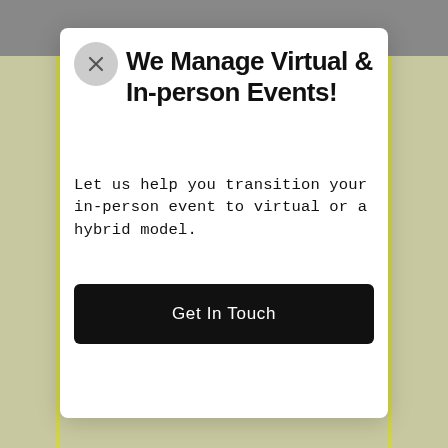We Manage Virtual & In-person Events!
Let us help you transition your in-person event to virtual or a hybrid model.
Get In Touch